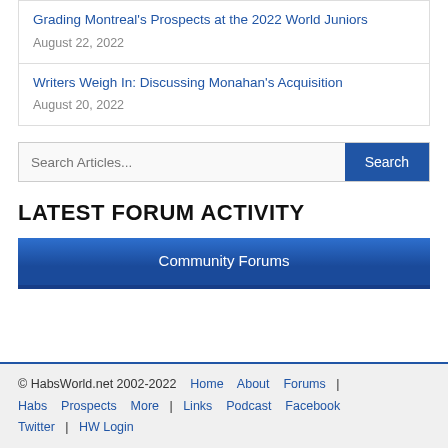Grading Montreal's Prospects at the 2022 World Juniors
August 22, 2022
Writers Weigh In: Discussing Monahan's Acquisition
August 20, 2022
LATEST FORUM ACTIVITY
Community Forums
© HabsWorld.net 2002-2022   Home   About   Forums   |   Habs   Prospects   More   |   Links   Podcast   Facebook   Twitter   |   HW Login